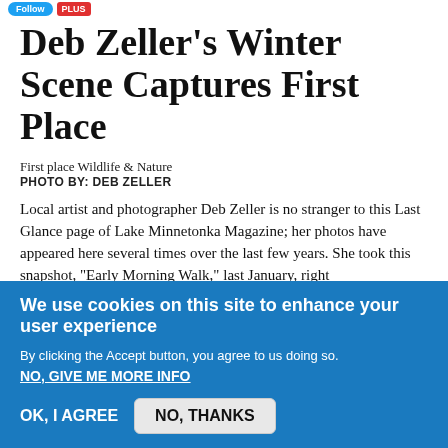Deb Zeller's Winter Scene Captures First Place
First place Wildlife & Nature
PHOTO BY: DEB ZELLER
Local artist and photographer Deb Zeller is no stranger to this Last Glance page of Lake Minnetonka Magazine; her photos have appeared here several times over the last few years. She took this snapshot, "Early Morning Walk," last January, right
We use cookies on this site to enhance your user experience
By clicking the Accept button, you agree to us doing so.
NO, GIVE ME MORE INFO
OK, I AGREE   NO, THANKS